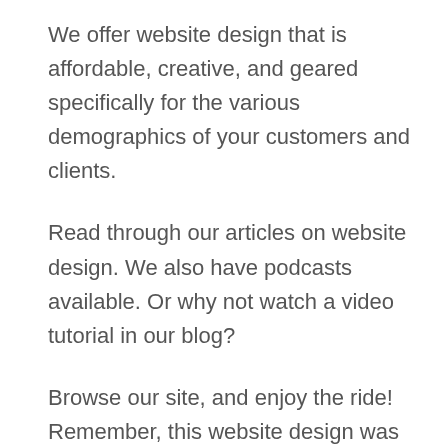We offer website design that is affordable, creative, and geared specifically for the various demographics of your customers and clients.
Read through our articles on website design. We also have podcasts available. Or why not watch a video tutorial in our blog?
Browse our site, and enjoy the ride! Remember, this website design was specifically structured to suit different clients and customers. And this can be done for your company, too.